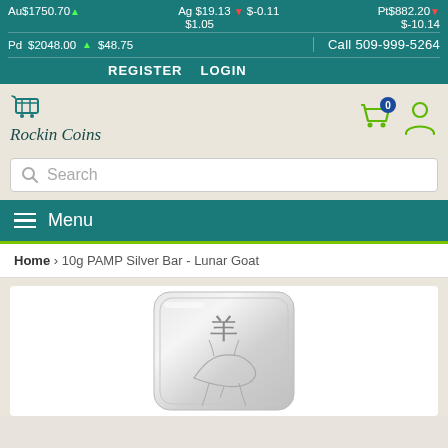Au$1750.70 ▲ $1.05  Ag $19.13 ▼ $-0.11  Pt$882.20 ▼ $-10.14  Pd $2048.00 ▲ $48.75  Call 509-999-5264
REGISTER  LOGIN
[Figure (logo): Rockin Coins logo with shopping cart icon]
Search
Menu
Home > 10g PAMP Silver Bar - Lunar Goat
[Figure (photo): 10g PAMP Silver Bar - Lunar Goat product image showing a silver bar with Chinese character for goat and goat illustration]